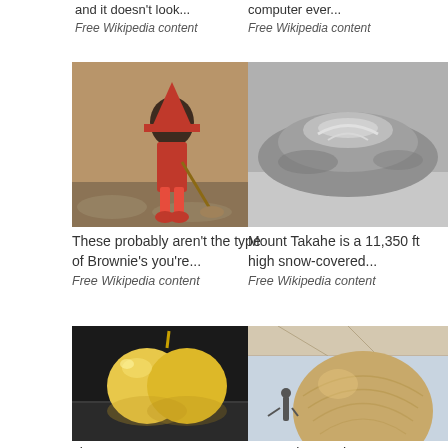and it doesn't look...
Free Wikipedia content
computer ever...
Free Wikipedia content
[Figure (illustration): Illustration of a brownie (mythical creature) sweeping with a broom]
These probably aren't the type of Brownie's you're...
Free Wikipedia content
[Figure (photo): Black and white aerial photo of Mount Takahe, a snow-covered volcanic crater]
Mount Takahe is a 11,350 ft high snow-covered...
Free Wikipedia content
[Figure (photo): Photo of a golden yellow lemon-shaped sculpture or object on a reflective surface]
Limonene, a compound found in
[Figure (photo): Photo of a large dome-shaped wooden structure under a pavilion with people nearby]
Do you know where the world's largest